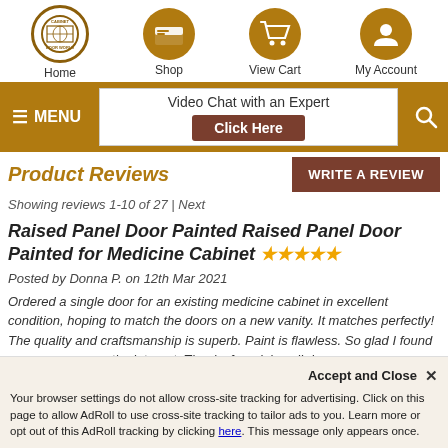Home | Shop | View Cart | My Account
[Figure (screenshot): Navigation menu bar with MENU button, Video Chat with an Expert box with Click Here button, and search icon]
Product Reviews
Showing reviews 1-10 of 27 | Next
Raised Panel Door Painted Raised Panel Door Painted for Medicine Cabinet ★★★★★
Posted by Donna P. on 12th Mar 2021
Ordered a single door for an existing medicine cabinet in excellent condition, hoping to match the doors on a new vanity. It matches perfectly! The quality and craftsmanship is superb. Paint is flawless. So glad I found your company on the internet. Thanks for a job well done.
Raised Panel Door Painted Completely b...
Accept and Close ✕ Your browser settings do not allow cross-site tracking for advertising. Click on this page to allow AdRoll to use cross-site tracking to tailor ads to you. Learn more or opt out of this AdRoll tracking by clicking here. This message only appears once.